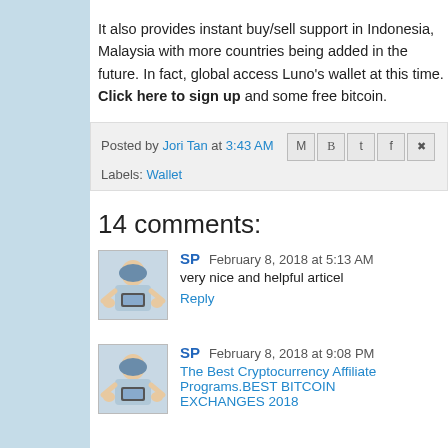It also provides instant buy/sell support in Indonesia, Malaysia with more countries being added in the future. In fact, globally access Luno's wallet at this time. Click here to sign up and some free bitcoin.
Posted by Jori Tan at 3:43 AM
Labels: Wallet
14 comments:
SP February 8, 2018 at 5:13 AM
very nice and helpful articel
Reply
SP February 8, 2018 at 9:08 PM
The Best Cryptocurrency Affiliate Programs.BEST BITCOIN EXCHANGES 2018
Reply